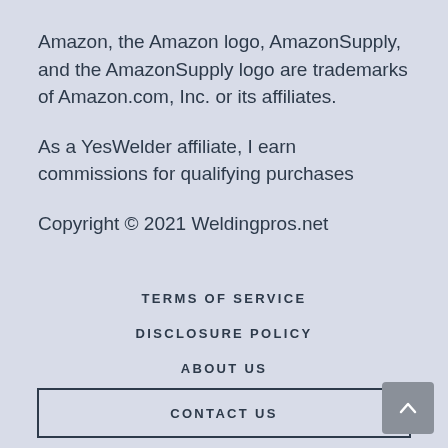Amazon, the Amazon logo, AmazonSupply, and the AmazonSupply logo are trademarks of Amazon.com, Inc. or its affiliates.
As a YesWelder affiliate, I earn commissions for qualifying purchases
Copyright © 2021 Weldingpros.net
TERMS OF SERVICE
DISCLOSURE POLICY
ABOUT US
CONTACT US